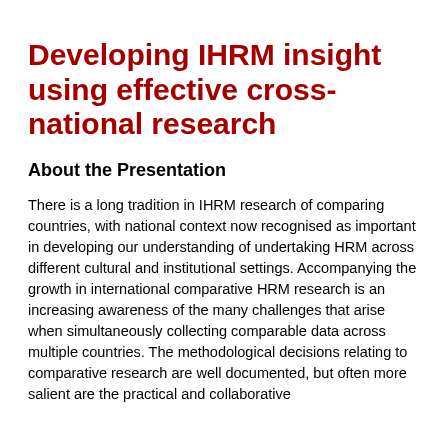Developing IHRM insight using effective cross-national research
About the Presentation
There is a long tradition in IHRM research of comparing countries, with national context now recognised as important in developing our understanding of undertaking HRM across different cultural and institutional settings. Accompanying the growth in international comparative HRM research is an increasing awareness of the many challenges that arise when simultaneously collecting comparable data across multiple countries. The methodological decisions relating to comparative research are well documented, but often more salient are the practical and collaborative